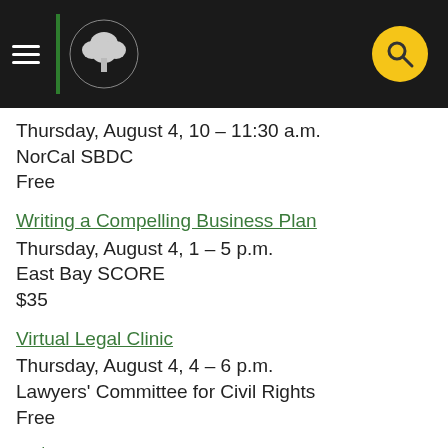Header with navigation and tree logo
Thursday, August 4, 10 – 11:30 a.m.
NorCal SBDC
Free
Writing a Compelling Business Plan
Thursday, August 4, 1 – 5 p.m.
East Bay SCORE
$35
Virtual Legal Clinic
Thursday, August 4, 4 – 6 p.m.
Lawyers' Committee for Civil Rights
Free
10th Annual East Bay Innovation Awards
Thursday, August 4, 5 – 8:30 p.m.